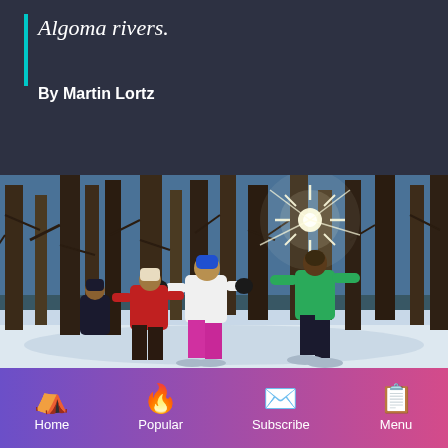Algoma rivers.
By Martin Lortz
[Figure (photo): People snowshoeing through a winter forest with bare trees and bright sunlight bursting through the canopy. Three people visible: one in a green jacket in front, two others in red and white winter gear behind. Snow on the ground.]
Home | Popular | Subscribe | Menu